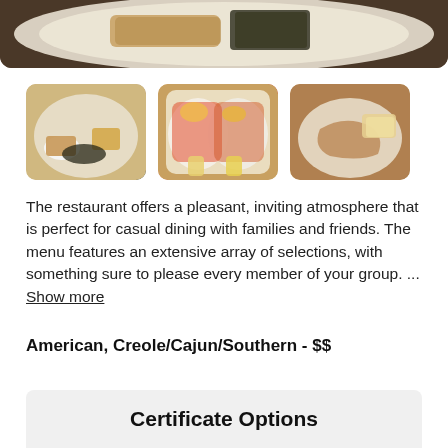[Figure (photo): Top portion of a food plate photo showing fried/breaded food items on a white plate with greens, on a dark wooden surface]
[Figure (photo): Three side-by-side food photos: left shows a plate with fried chicken, white items (rice/eggs), dark greens, and cornbread; center shows seafood tacos with colorful toppings and lemon wedge on paper wrapping; right shows fried fish or meat on a plate with bread]
The restaurant offers a pleasant, inviting atmosphere that is perfect for casual dining with families and friends. The menu features an extensive array of selections, with something sure to please every member of your group. ... Show more
American, Creole/Cajun/Southern  -  $$
Certificate Options